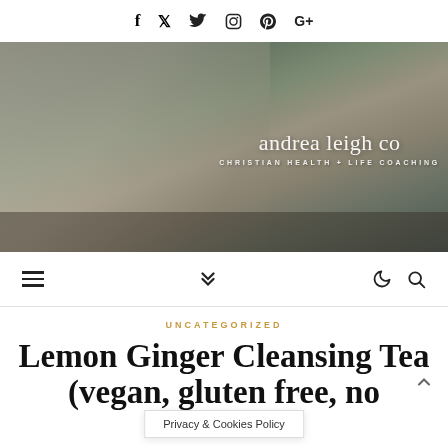f  Twitter  Instagram  Pinterest  G+
[Figure (photo): Woman in cream knit sweater sitting outdoors holding a book, with text overlay: andrea leigh co / CHRISTIAN HEALTH + LIFE COACHING]
≡  ❯❯  ☽  🔍
UNCATEGORIZED
Lemon Ginger Cleansing Tea (vegan, gluten free, no
Privacy & Cookies Policy